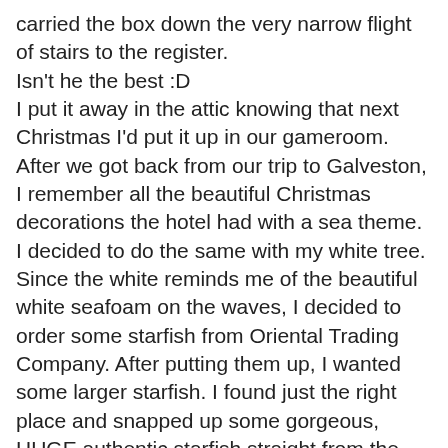carried the box down the very narrow flight of stairs to the register.
Isn't he the best :D
I put it away in the attic knowing that next Christmas I'd put it up in our gameroom.
After we got back from our trip to Galveston, I remember all the beautiful Christmas decorations the hotel had with a sea theme. I decided to do the same with my white tree.
Since the white reminds me of the beautiful white seafoam on the waves, I decided to order some starfish from Oriental Trading Company. After putting them up, I wanted some larger starfish. I found just the right place and snapped up some gorgeous, HUGE authentic starfish straight from the Phillipines! His shop is Deltona SeaShells. He has a great selection and the price is wonderful!
I just stuck them here and there on the tree. I then got some irridescent blue ribbon, made a huge bow